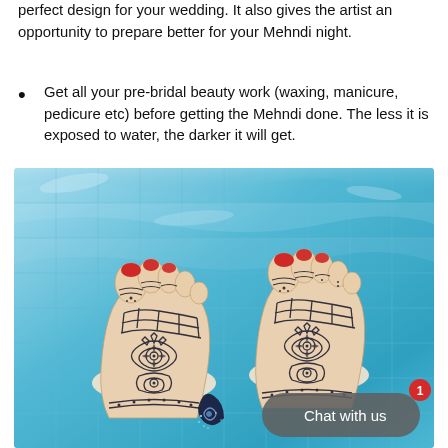perfect design for your wedding. It also gives the artist an opportunity to prepare better for your Mehndi night.
Get all your pre-bridal beauty work (waxing, manicure, pedicure etc) before getting the Mehndi done. The less it is exposed to water, the darker it will get.
[Figure (photo): Two feet decorated with intricate henna/Mehndi patterns with red nail polish, photographed over a blue swimming pool tile background. A chat widget and logo are overlaid in the bottom portion of the image.]